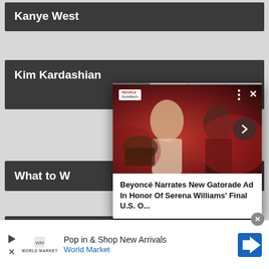Kanye West
Kim Kardashian
What to W…
Who Wor…
Red Carpet Fashion
[Figure (photo): Popup video thumbnail showing two figures in red-lit scene with 'Beyoncé Narrates New Gatorade Ad In Honor Of Serena Williams' Final U.S. O...' headline]
Beyoncé Narrates New Gatorade Ad In Honor Of Serena Williams' Final U.S. O...
Pop in & Shop New Arrivals
World Market